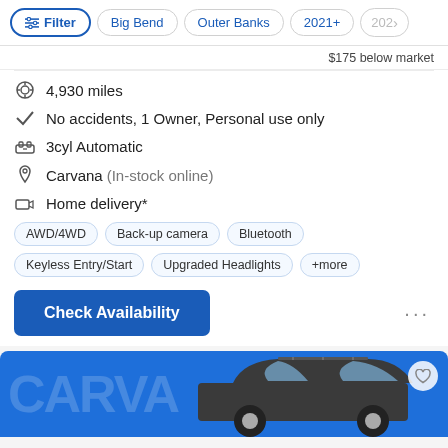Filter | Big Bend | Outer Banks | 2021+ | 202>
$175 below market
4,930 miles
No accidents, 1 Owner, Personal use only
3cyl Automatic
Carvana (In-stock online)
Home delivery*
AWD/4WD  Back-up camera  Bluetooth  Keyless Entry/Start  Upgraded Headlights  +more
Check Availability
[Figure (photo): Carvana branded card showing a dark SUV (Ford Bronco Sport) from the side, with 'CARV...' watermark text in the background]